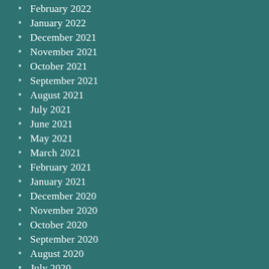February 2022
January 2022
December 2021
November 2021
October 2021
September 2021
August 2021
July 2021
June 2021
May 2021
March 2021
February 2021
January 2021
December 2020
November 2020
October 2020
September 2020
August 2020
July 2020